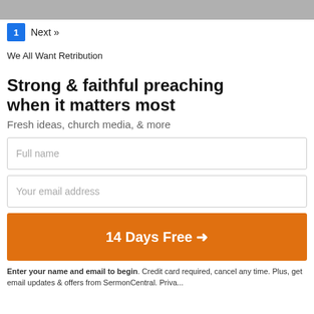[Figure (photo): Partial photo strip at top of page (grayscale, cropped)]
1  Next »
We All Want Retribution
Strong & faithful preaching when it matters most
Fresh ideas, church media, & more
Full name
Your email address
14 Days Free →
Enter your name and email to begin. Credit card required, cancel any time. Plus, get email updates & offers from SermonCentral. Priva...